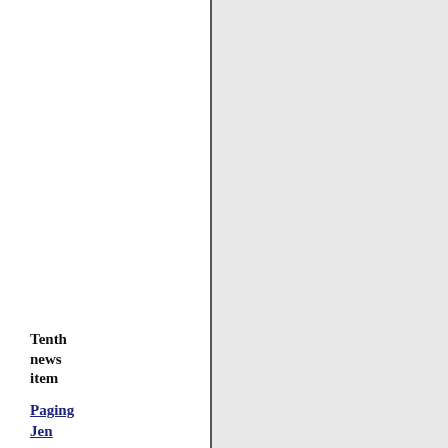rberyon Feb. 23, 2020.
Tenth news item
Paging Jen